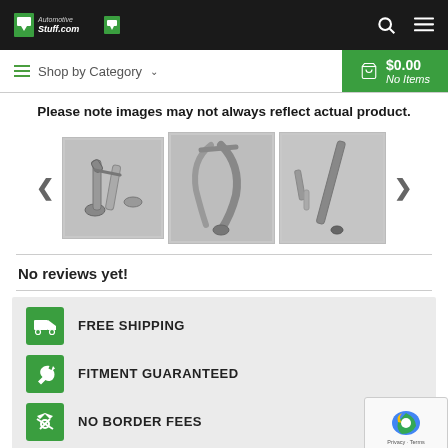[Figure (screenshot): AutomotiveStuff.com website header with logo, search icon, and hamburger menu on dark background]
[Figure (screenshot): Navigation bar with Shop by Category and cart showing $0.00 No Items on green background]
Please note images may not always reflect actual product.
[Figure (photo): Product image carousel showing three exhaust pipe/muffler component photos with left and right navigation arrows]
No reviews yet!
[Figure (infographic): Benefits box with three items: FREE SHIPPING (truck icon), FITMENT GUARANTEED (wrench icon), NO BORDER FEES (crossed icon), each with green square icon]